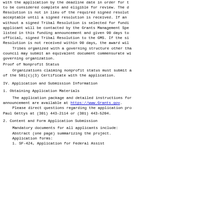with the application by the deadline date in order for the application to be considered complete and eligible for review. The draft Tribal Resolution is not in lieu of the required signed resolution but is acceptable until a signed resolution is received. If an application without a signed Tribal Resolution is selected for funding, the applicant will be contacted by the Grants Management Specialist listed in this funding announcement and given 90 days to submit an official, signed Tribal Resolution to the GMS. If the signed Tribal Resolution is not received within 90 days, the award will be rescinded.
Tribes organized with a governing structure other than a tribal council may submit an equivalent document commensurate with their governing organization.
Proof of Nonprofit Status
Organizations claiming nonprofit status must submit a copy of the 501(c)(3) Certificate with the application.
IV. Application and Submission Information
1. Obtaining Application Materials
The application package and detailed instructions for this announcement are available at https://www.Grants.gov.
Please direct questions regarding the application process to Paul Gettys at (301) 443-2114 or (301) 443-5204.
2. Content and Form Application Submission
Mandatory documents for all applicants include:
Abstract (one page) summarizing the project.
Application forms:
1. SF-424, Application for Federal Assistance